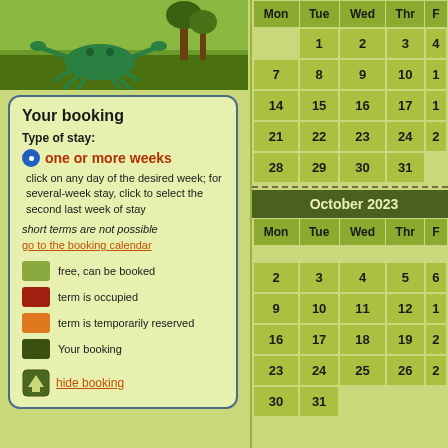[Figure (photo): Outdoor photo showing green decorative sculptures (possibly crab/lobster) in a garden setting]
Your booking
Type of stay:
one or more weeks
click on any day of the desired week; for several-week stay, click to select the second last week of stay
short terms are not possible
go to the booking calendar
free, can be booked
term is occupied
term is temporarily reserved
Your booking
hide booking
| Mon | Tue | Wed | Thr | Fri |
| --- | --- | --- | --- | --- |
|  | 1 | 2 | 3 | 4 |
| 7 | 8 | 9 | 10 | 11 |
| 14 | 15 | 16 | 17 | 18 |
| 21 | 22 | 23 | 24 | 25 |
| 28 | 29 | 30 | 31 |  |
October 2023
| Mon | Tue | Wed | Thr | Fri |
| --- | --- | --- | --- | --- |
|  |  |  |  |  |
| 2 | 3 | 4 | 5 | 6 |
| 9 | 10 | 11 | 12 | 13 |
| 16 | 17 | 18 | 19 | 20 |
| 23 | 24 | 25 | 26 | 27 |
| 30 | 31 |  |  |  |